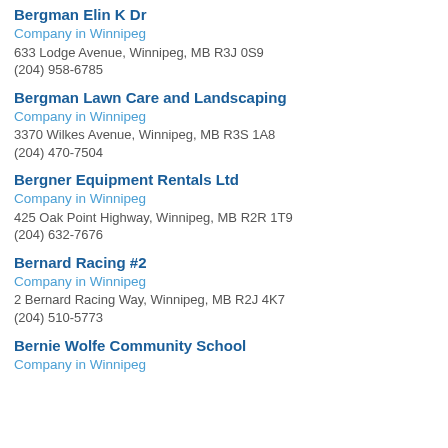Bergman Elin K Dr
Company in Winnipeg
633 Lodge Avenue, Winnipeg, MB R3J 0S9
(204) 958-6785
Bergman Lawn Care and Landscaping
Company in Winnipeg
3370 Wilkes Avenue, Winnipeg, MB R3S 1A8
(204) 470-7504
Bergner Equipment Rentals Ltd
Company in Winnipeg
425 Oak Point Highway, Winnipeg, MB R2R 1T9
(204) 632-7676
Bernard Racing #2
Company in Winnipeg
2 Bernard Racing Way, Winnipeg, MB R2J 4K7
(204) 510-5773
Bernie Wolfe Community School
Company in Winnipeg